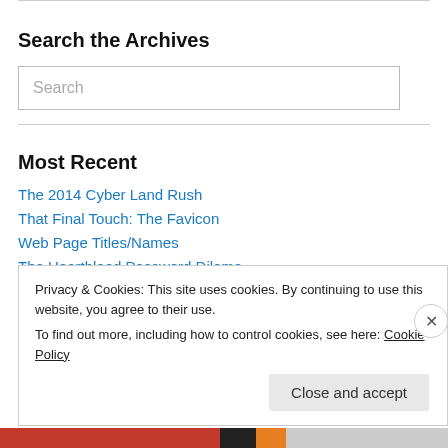Search the Archives
Search
Most Recent
The 2014 Cyber Land Rush
That Final Touch: The Favicon
Web Page Titles/Names
The Heartbleed Password Dilema
Privacy & Cookies: This site uses cookies. By continuing to use this website, you agree to their use.
To find out more, including how to control cookies, see here: Cookie Policy
Close and accept